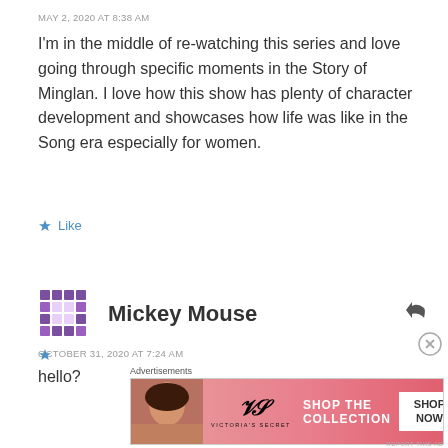MAY 2, 2020 AT 8:38 AM
I'm in the middle of re-watching this series and love going through specific moments in the Story of Minglan. I love how this show has plenty of character development and showcases how life was like in the Song era especially for women.
★ Like
Mickey Mouse
OCTOBER 31, 2020 AT 7:24 AM
hello?
[Figure (photo): Victoria's Secret advertisement banner with model, VS logo, 'SHOP THE COLLECTION' text and 'SHOP NOW' button]